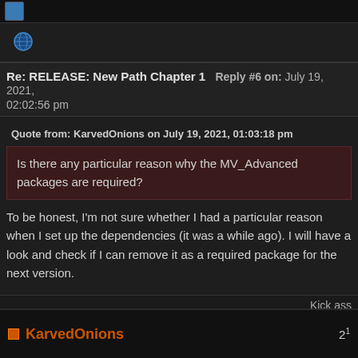[Figure (other): Small avatar icon (blue) in top bar]
[Figure (other): Globe/world icon (small, colorful)]
Re: RELEASE: New Path Chapter 1  Reply #6 on: July 19, 2021, 02:02:56 pm
Quote from: KarvedOnions on July 19, 2021, 01:03:18 pm
Is there any particular reason why the MV_Advanced packages are required?
To be honest, I'm not sure whether I had a particular reason when I set up the dependencies (it was a while ago). I will have a look and check if I can remove it as a required package for the next version.
Kick ass
Logged
KarvedOnions  2¹